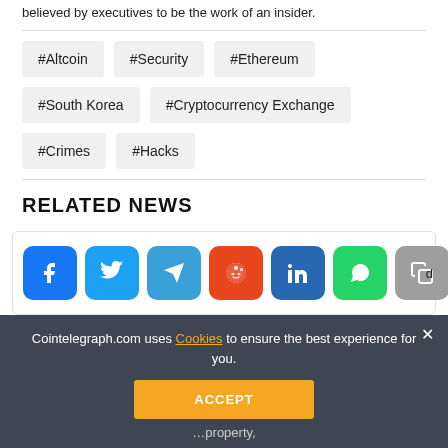believed by executives to be the work of an insider.
#Altcoin
#Security
#Ethereum
#South Korea
#Cryptocurrency Exchange
#Crimes
#Hacks
RELATED NEWS
[Figure (infographic): Social media share buttons: Facebook, Twitter, Telegram, Reddit, LinkedIn, WhatsApp, Copy, and scroll-up buttons]
Cointelegraph.com uses Cookies to ensure the best experience for you.
ACCEPT